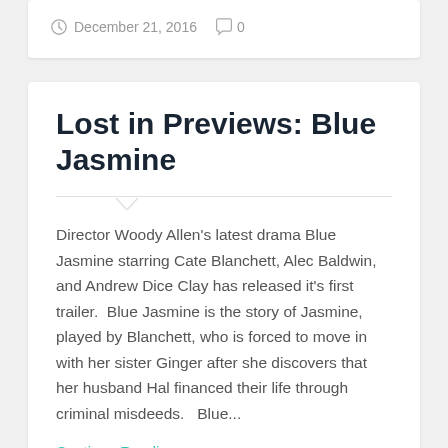December 21, 2016   0
Lost in Previews: Blue Jasmine
Director Woody Allen's latest drama Blue Jasmine starring Cate Blanchett, Alec Baldwin, and Andrew Dice Clay has released it's first trailer.  Blue Jasmine is the story of Jasmine, played by Blanchett, who is forced to move in with her sister Ginger after she discovers that her husband Hal financed their life through criminal misdeeds.   Blue...
Continue Reading →